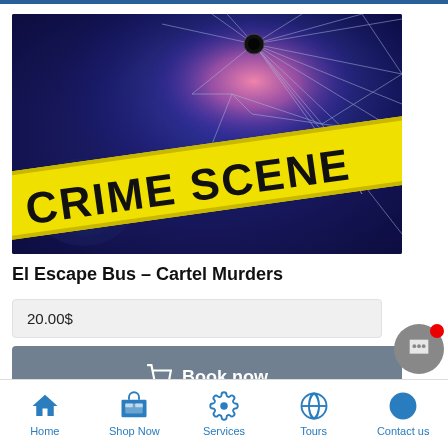[Figure (photo): Crime scene tape reading 'CRIME SCENE' on a dark blue background with shattered glass and a bullet hole, plus a fingerprint silhouette]
El Escape Bus – Cartel Murders
20.00$
Book now
Home  Shop Now  Services  Tours  Contact us